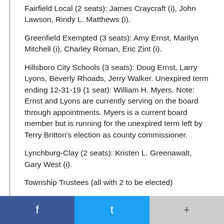Fairfield Local (2 seats): James Craycraft (i), John Lawson, Rindy L. Matthews (i).
Greenfield Exempted (3 seats): Amy Ernst, Marilyn Mitchell (i), Charley Roman, Eric Zint (i).
Hillsboro City Schools (3 seats): Doug Ernst, Larry Lyons, Beverly Rhoads, Jerry Walker. Unexpired term ending 12-31-19 (1 seat): William H. Myers. Note: Ernst and Lyons are currently serving on the board through appointments. Myers is a current board member but is running for the unexpired term left by Terry Britton's election as county commissioner.
Lynchburg-Clay (2 seats): Kristen L. Greenawalt, Gary West (i).
Township Trustees (all with 2 to be elected)
Brushcreek: David T. Cruea (i), Danny McBee (i).